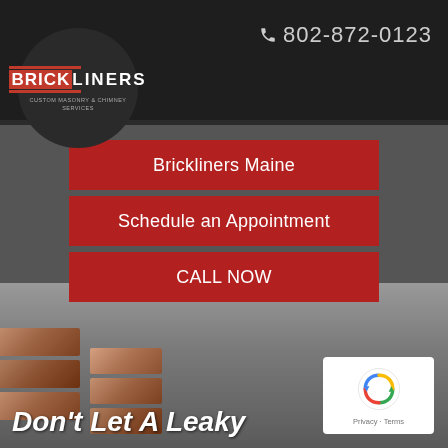802-872-0123
[Figure (logo): Brickliners logo — white text on dark circle with red accent bar and subtitle 'Custom Masonry & Chimney Services']
Select Page
Brickliners Maine
Schedule an Appointment
CALL NOW
[Figure (photo): Cracked brick/stone masonry background with old deteriorated bricks in foreground]
Don't Let A Leaky
[Figure (other): Google reCAPTCHA badge with spinning arrows icon and Privacy - Terms links]